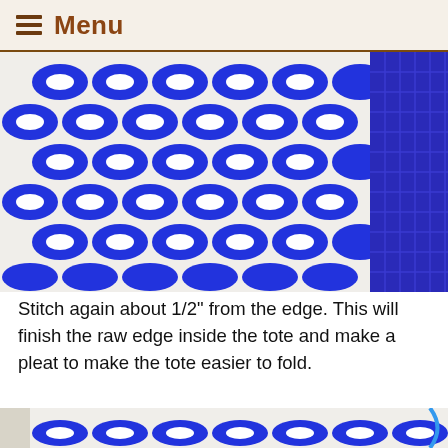Menu
[Figure (photo): Close-up of blue and white embroidered fabric with interlocking celtic knot / lattice pattern in royal blue on white background, with blue patterned fabric visible on right side.]
Stitch again about 1/2" from the edge. This will finish the raw edge inside the tote and make a pleat to make the tote easier to fold.
[Figure (photo): White linen tote bag with blue floral embroidery on upper portion and blue interlocking chain/celtic knot trim along the bottom edge, with blue handle visible on right.]